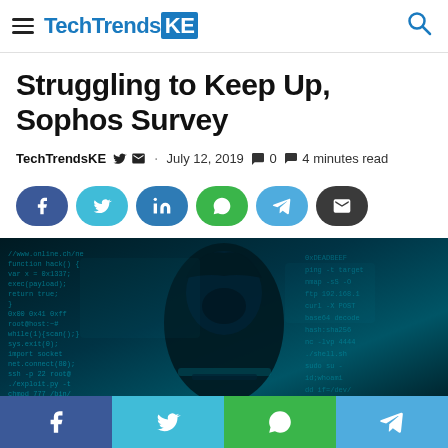TechTrendsKE
Struggling to Keep Up, Sophos Survey
TechTrendsKE · July 12, 2019  0  4 minutes read
[Figure (infographic): Social share buttons: Facebook, Twitter, LinkedIn, WhatsApp, Telegram, Email]
[Figure (photo): Dark hooded hacker figure in front of glowing teal/blue code on screen — cybersecurity themed hero image]
[Figure (infographic): Bottom share bar with Facebook, Twitter, WhatsApp, Telegram buttons]